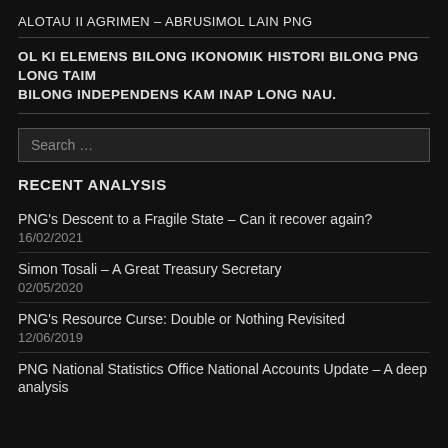ALOTAU II AGRIMEN – ABRUSIMOL LAIN PNG
OL KI ELEMENS BILONG IKONOMIK HISTORI BILONG PNG LONG TAIM BILONG INDEPENDENS KAM INAP LONG NAU.
Search …
RECENT ANALYSIS
PNG's Descent to a Fragile State – Can it recover again?
16/02/2021
Simon Tosali – A Great Treasury Secretary
02/05/2020
PNG's Resource Curse: Double or Nothing Revisited
12/06/2019
PNG National Statistics Office National Accounts Update – A deep analysis